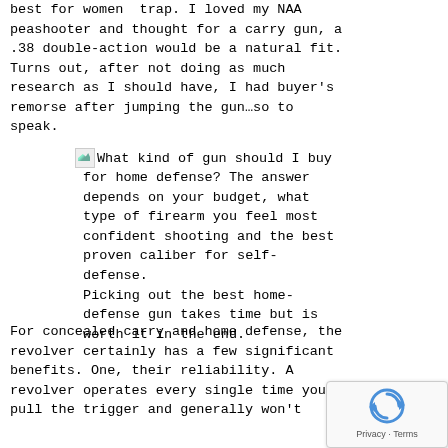best for women  trap. I loved my NAA peashooter and thought for a carry gun, a .38 double-action would be a natural fit. Turns out, after not doing as much research as I should have, I had buyer's remorse after jumping the gun…so to speak.
[Figure (photo): Broken/loading image icon followed by caption text about home defense gun selection and picking out the best home-defense gun.]
For concealed carry and home defense, the revolver certainly has a few significant benefits. One, their reliability. A revolver operates every single time you pull the trigger and generally won't